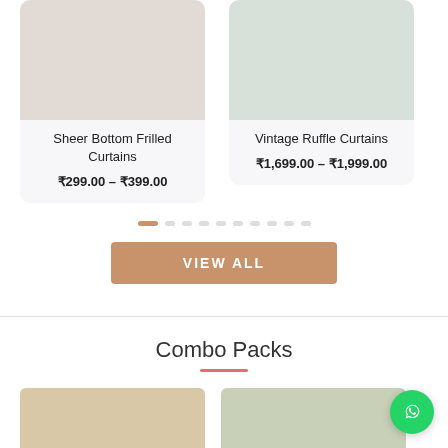[Figure (photo): Product card showing sheer white curtains with frilled bottom]
Sheer Bottom Frilled Curtains
₹299.00 – ₹399.00
[Figure (photo): Product card showing vintage white ruffle curtains]
Vintage Ruffle Curtains
₹1,699.00 – ₹1,999.00
[Figure (other): Pagination dots — one orange active dot and multiple grey dots]
VIEW ALL
Combo Packs
[Figure (photo): Combo pack product image showing colorful curtains with decorations]
[Figure (photo): Combo pack product image showing white curtains with floral garlands]